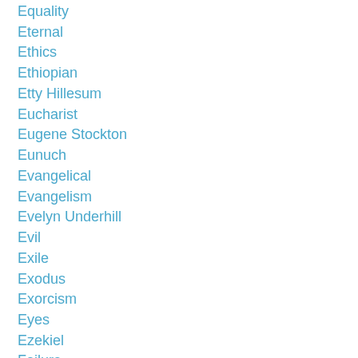Equality
Eternal
Ethics
Ethiopian
Etty Hillesum
Eucharist
Eugene Stockton
Eunuch
Evangelical
Evangelism
Evelyn Underhill
Evil
Exile
Exodus
Exorcism
Eyes
Ezekiel
Failure
Fair Trade
Faith
Fame